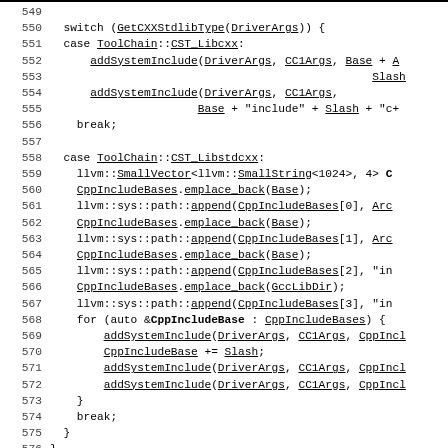Source code listing lines 549-576, showing C++ switch statement for GetCXXStdlibType with cases for ToolChain::CST_Libcxx and ToolChain::CST_Libstdcxx
549
550  switch (GetCXXStdlibType(DriverArgs)) {
551  case ToolChain::CST_Libcxx:
552      addSystemInclude(DriverArgs, CC1Args, Base + A...
553                                                Slash...
554      addSystemInclude(DriverArgs, CC1Args,
555                      Base + "include" + Slash + "c+...
556    break;
557
558  case ToolChain::CST_Libstdcxx:
559    llvm::SmallVector<llvm::SmallString<1024>, 4> C...
560    CppIncludeBases.emplace_back(Base);
561    llvm::sys::path::append(CppIncludeBases[0], Arc...
562    CppIncludeBases.emplace_back(Base);
563    llvm::sys::path::append(CppIncludeBases[1], Arc...
564    CppIncludeBases.emplace_back(Base);
565    llvm::sys::path::append(CppIncludeBases[2], "in...
566    CppIncludeBases.emplace_back(GccLibDir);
567    llvm::sys::path::append(CppIncludeBases[3], "in...
568    for (auto &CppIncludeBase : CppIncludeBases) {
569        addSystemInclude(DriverArgs, CC1Args, CppIncl...
570        CppIncludeBase += Slash;
571        addSystemInclude(DriverArgs, CC1Args, CppIncl...
572        addSystemInclude(DriverArgs, CC1Args, CppIncl...
573    }
574    break;
575  }
576}